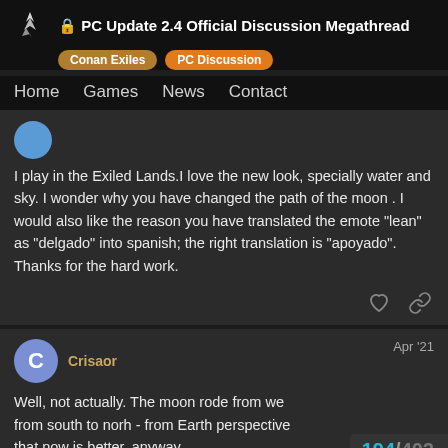PC Update 2.4 Official Discussion Megathread
Conan Exiles  PC Discussion
Home  Games  News  Contact
I play in the Exiled Lands.I love the new look, specially water and sky. I wonder why you have changed the path of the moon . I would also like the reason you have translated the emote "lean" as "delgado" into spanish; the right translation is "apoyado".
Thanks for the hard work.
Crisaor  Apr '21
Well, not actually. The moon rode from we... from south to norh - from Earth perspective... that now is better, anyway.
194 / 402